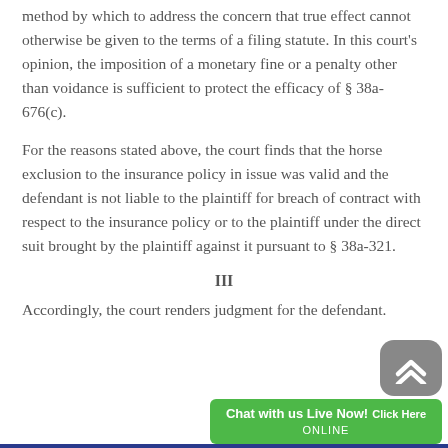method by which to address the concern that true effect cannot otherwise be given to the terms of a filing statute. In this court's opinion, the imposition of a monetary fine or a penalty other than voidance is sufficient to protect the efficacy of § 38a-676(c).
For the reasons stated above, the court finds that the horse exclusion to the insurance policy in issue was valid and the defendant is not liable to the plaintiff for breach of contract with respect to the insurance policy or to the plaintiff under the direct suit brought by the plaintiff against it pursuant to § 38a-321.
III
Accordingly, the court renders judgment for the defendant.